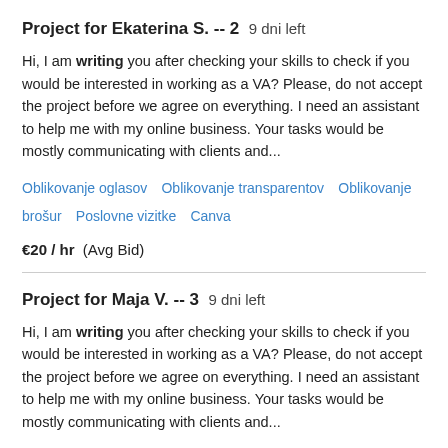Project for Ekaterina S. -- 2   9 dni left
Hi, I am writing you after checking your skills to check if you would be interested in working as a VA? Please, do not accept the project before we agree on everything. I need an assistant to help me with my online business. Your tasks would be mostly communicating with clients and...
Oblikovanje oglasov   Oblikovanje transparentov   Oblikovanje brošur   Poslovne vizitke   Canva
€20 / hr   (Avg Bid)
Project for Maja V. -- 3   9 dni left
Hi, I am writing you after checking your skills to check if you would be interested in working as a VA? Please, do not accept the project before we agree on everything. I need an assistant to help me with my online business. Your tasks would be mostly communicating with clients and...
Pripravlianje vsebine   Prepisovanje besedil   Kreativno